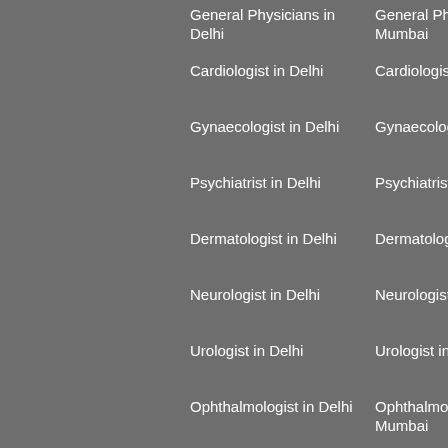General Physicians in Delhi
General Physicians in Mumbai
General Physicians in Chennai
General Physicians in Bangalore
Cardiologist in Delhi
Cardiologist in Mumbai
Cardiologist in Chennai
Cardiologist in Bangalore
Gynaecologist in Delhi
Gynaecologist in Mumbai
Gynaecologist in Chennai
Gynaecologist in Bangalore
Psychiatrist in Delhi
Psychiatrist in Mumbai
Psychiatrist in Chennai
Psychiatrist in Bangalore
Dermatologist in Delhi
Dermatologist in Mumbai
Dermatologist in Chennai
Dermatologist in Bangalore
Neurologist in Delhi
Neurologist in Mumbai
Neurologist in Chennai
Neurologist in Bangalore
Urologist in Delhi
Urologist in Mumbai
Urologist in Chennai
Urologist in Bangalore
Ophthalmologist in Delhi
Ophthalmologist in Mumbai
Ophthalmologist in Chennai
Ophthalmologist in Bangalore